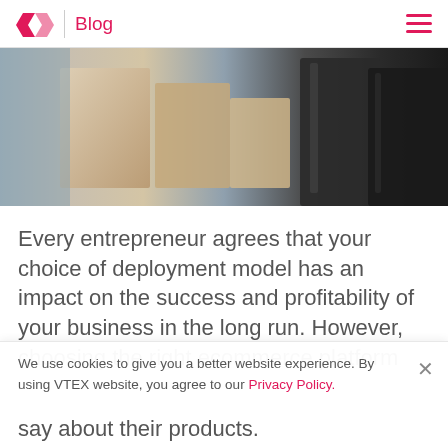VTEX | Blog
[Figure (photo): Close-up photograph of cardboard shipping boxes and black packaging items in a warehouse or storage setting]
Every entrepreneur agrees that your choice of deployment model has an impact on the success and profitability of your business in the long run. However, choosing the right ecommerce platform
We use cookies to give you a better website experience. By using VTEX website, you agree to our Privacy Policy.
say about their products.